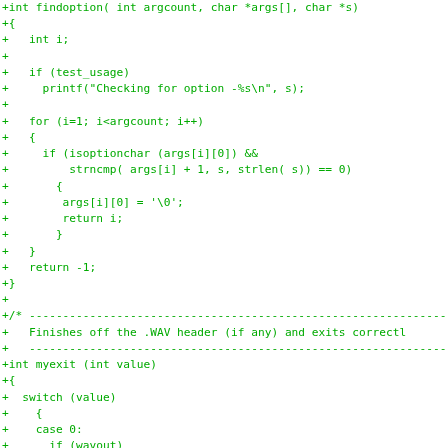Code diff showing findoption and myexit C functions with added lines marked with '+'